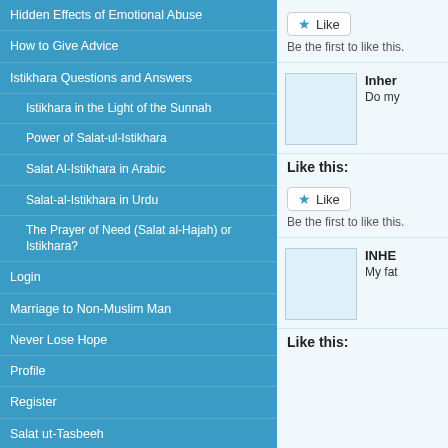Hidden Effects of Emotional Abuse
How to Give Advice
Istikhara Questions and Answers
Istikhara in the Light of the Sunnah
Power of Salat-ul-Istikhara
Salat Al-Istikhara in Arabic
Salat-al-Istikhara in Urdu
The Prayer of Need (Salat al-Hajah) or Istikhara?
Login
Marriage to Non-Muslim Man
Never Lose Hope
Profile
Register
Salat ut-Tasbeeh
Submit Your Question
How to Submit Your Question as a Draft
Question Submission Form
Suicide in Islam
Tawbah in Islam
Its not over 'til the Trumpet is Blown – Sin and Repentance in Islam
Poem: Turning Back to Allah
The Sin of Fornication and Adultery – Part 1
Be the first to like this.
Inher
Do my
Like this:
Be the first to like this.
INHE
My fat
Like this: